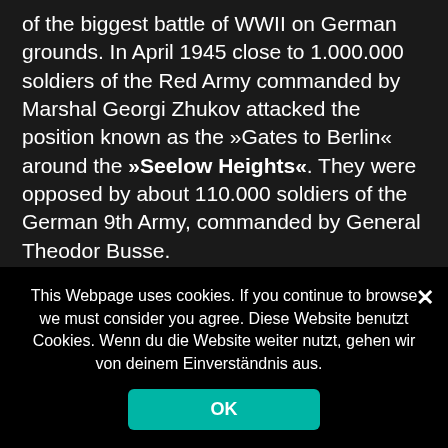of the biggest battle of WWII on German grounds. In April 1945 close to 1.000.000 soldiers of the Red Army commanded by Marshal Georgi Zhukov attacked the position known as the »Gates to Berlin« around the »Seelow Heights«. They were opposed by about 110.000 soldiers of the German 9th Army, commanded by General Theodor Busse.

The 16th of April 1945 marked the start of the last soviet military offensive against Nazi-Germany. It ended in Berlin with the city's unconditional surrender on May 2nd, 1945. The attack was itself the opening phase of
This Webpage uses cookies. If you continue to browse we must consider you agree. Diese Website benutzt Cookies. Wenn du die Website weiter nutzt, gehen wir von deinem Einverständnis aus.